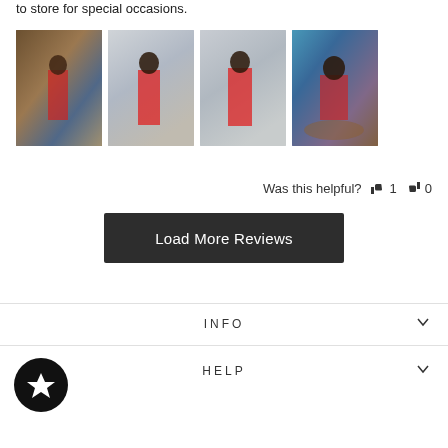to store for special occasions.
[Figure (photo): Four photos of a woman in a red dress in various settings]
Was this helpful?  👍 1  👎 0
Load More Reviews
INFO
HELP
[Figure (logo): Black circle with white star icon]